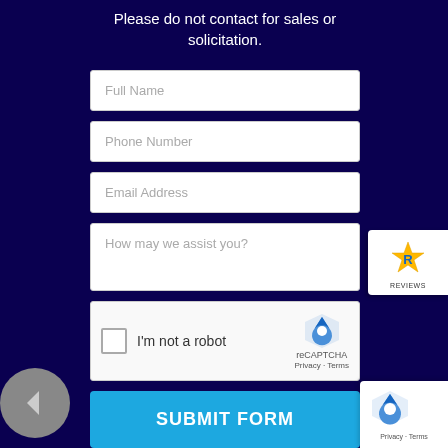Please do not contact for sales or solicitation.
[Figure (screenshot): Web contact form with fields for Full Name, Phone Number, Email Address, How may we assist you, a reCAPTCHA checkbox, and a SUBMIT FORM button on a dark navy blue background]
[Figure (logo): Reviews badge with star icon on right side]
[Figure (logo): reCAPTCHA Privacy Terms badge on bottom right]